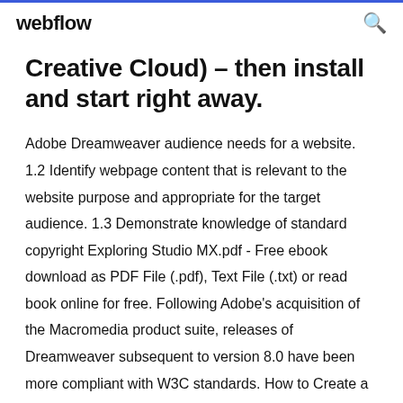webflow
Creative Cloud) – then install and start right away.
Adobe Dreamweaver audience needs for a website. 1.2 Identify webpage content that is relevant to the website purpose and appropriate for the target audience. 1.3 Demonstrate knowledge of standard copyright Exploring Studio MX.pdf - Free ebook download as PDF File (.pdf), Text File (.txt) or read book online for free. Following Adobe's acquisition of the Macromedia product suite, releases of Dreamweaver subsequent to version 8.0 have been more compliant with W3C standards. How to Create a Download Link